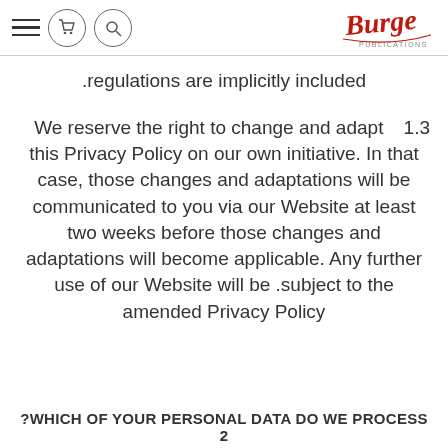Burge Publications [header with hamburger menu, cart icon, search icon, and logo]
.regulations are implicitly included
We reserve the right to change and adapt this Privacy Policy on our own initiative. In that case, those changes and adaptations will be communicated to you via our Website at least two weeks before those changes and adaptations will become applicable. Any further use of our Website will be .subject to the amended Privacy Policy
1.3
?WHICH OF YOUR PERSONAL DATA DO WE PROCESS 2